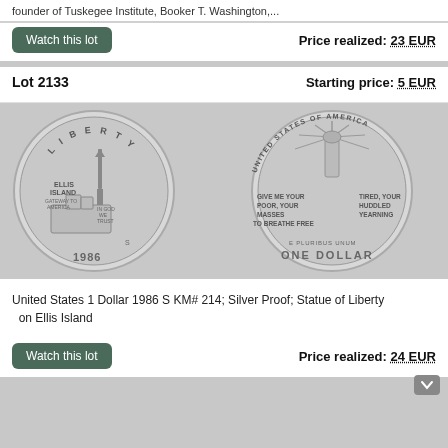founder of Tuskegee Institute, Booker T. Washington,...
Watch this lot
Price realized: 23 EUR
Lot 2133
Starting price: 5 EUR
[Figure (photo): Two sides of a 1986 United States Silver Dollar commemorating the Statue of Liberty on Ellis Island. Obverse shows Statue of Liberty with 'LIBERTY', 'ELLIS ISLAND GATEWAY TO AMERICA', 'IN GOD WE TRUST', '1986'. Reverse shows 'UNITED STATES OF AMERICA', 'GIVE ME YOUR POOR, YOUR MASSES TO BREATHE FREE TIRED, YOUR HUDDLED YEARNING', 'E PLURIBUS UNUM', 'ONE DOLLAR'.]
United States 1 Dollar 1986 S KM# 214; Silver Proof; Statue of Liberty on Ellis Island
Watch this lot
Price realized: 24 EUR